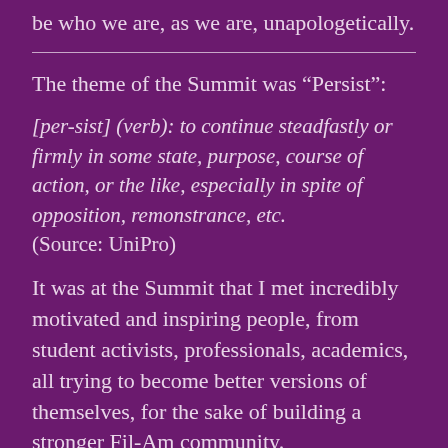be who we are, as we are, unapologetically.
The theme of the Summit was “Persist”:
[per-sist] (verb): to continue steadfastly or firmly in some state, purpose, course of action, or the like, especially in spite of opposition, remonstrance, etc. (Source: UniPro)
It was at the Summit that I met incredibly motivated and inspiring people, from student activists, professionals, academics, all trying to become better versions of themselves, for the sake of building a stronger Fil-Am community.